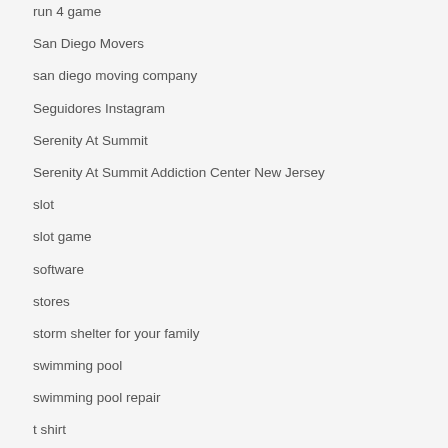run 4 game
San Diego Movers
san diego moving company
Seguidores Instagram
Serenity At Summit
Serenity At Summit Addiction Center New Jersey
slot
slot game
software
stores
storm shelter for your family
swimming pool
swimming pool repair
t shirt
t shirt maker cheap
t shirts
tappeto